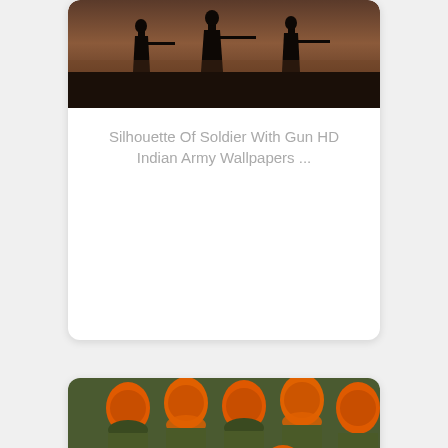[Figure (photo): Silhouette of a soldier with gun against a dark orange/brown sunset sky background]
Silhouette Of Soldier With Gun HD Indian Army Wallpapers ...
[Figure (photo): Group of Indian Army Sikh soldiers wearing orange turbans and olive green uniforms with white gloves, marching in formation]